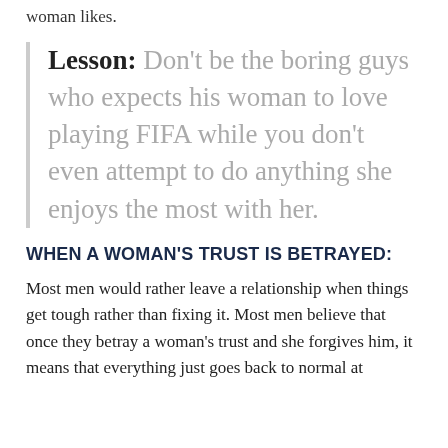woman likes.
Lesson: Don't be the boring guys who expects his woman to love playing FIFA while you don't even attempt to do anything she enjoys the most with her.
WHEN A WOMAN'S TRUST IS BETRAYED:
Most men would rather leave a relationship when things get tough rather than fixing it. Most men believe that once they betray a woman's trust and she forgives him, it means that everything just goes back to normal at